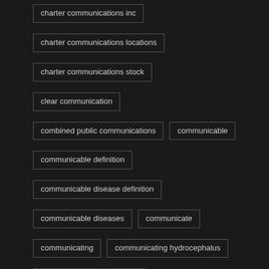charter communications inc
charter communications locations
charter communications stock
clear communication
combined public communications
communicable
communicable definition
communicable disease definition
communicable diseases
communicate
communicating
communicating hydrocephalus
communication abbreviation
communication apprehension
communication board